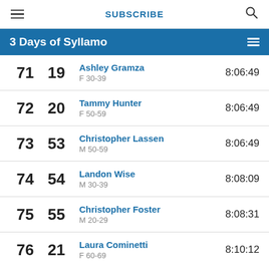SUBSCRIBE
3 Days of Syllamo
| Overall | Cat | Name / Category | Time |
| --- | --- | --- | --- |
| 71 | 19 | Ashley Gramza
F 30-39 | 8:06:49 |
| 72 | 20 | Tammy Hunter
F 50-59 | 8:06:49 |
| 73 | 53 | Christopher Lassen
M 50-59 | 8:06:49 |
| 74 | 54 | Landon Wise
M 30-39 | 8:08:09 |
| 75 | 55 | Christopher Foster
M 20-29 | 8:08:31 |
| 76 | 21 | Laura Cominetti
F 60-69 | 8:10:12 |